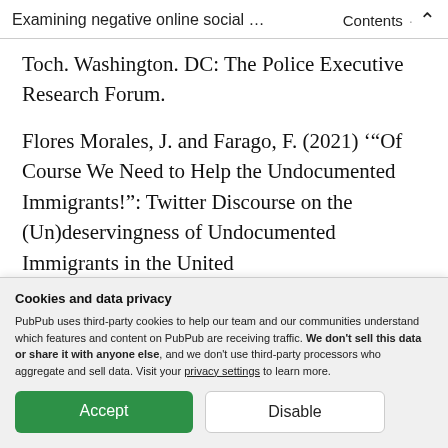Examining negative online social ...   Contents  ↑
Toch. Washington. DC: The Police Executive Research Forum.
Flores Morales, J. and Farago, F. (2021) '“Of Course We Need to Help the Undocumented Immigrants!”: Twitter Discourse on the (Un)deservingness of Undocumented Immigrants in the United
Cookies and data privacy

PubPub uses third-party cookies to help our team and our communities understand which features and content on PubPub are receiving traffic. We don't sell this data or share it with anyone else, and we don't use third-party processors who aggregate and sell data. Visit your privacy settings to learn more.

Accept   Disable